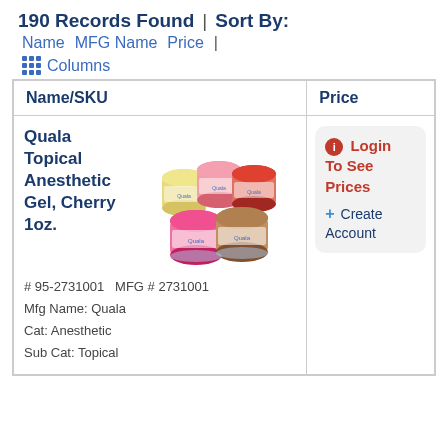190 Records Found  | Sort By:
Name  MFG Name  Price  |
⊞ Columns
| Name/SKU | Price |
| --- | --- |
| Quala Topical Anesthetic Gel, Cherry 1oz.
# 95-2731001   MFG # 2731001
Mfg Name: Quala
Cat: Anesthetic
Sub Cat: Topical | Login To See Prices
+ Create Account |